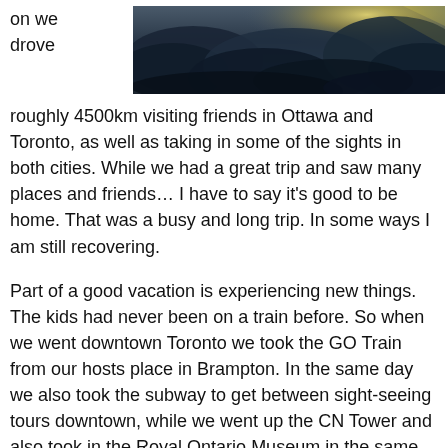[Figure (photo): Sky with dramatic dark clouds and sunlight breaking through]
on we drove roughly 4500km visiting friends in Ottawa and Toronto, as well as taking in some of the sights in both cities. While we had a great trip and saw many places and friends… I have to say it's good to be home. That was a busy and long trip. In some ways I am still recovering.
Part of a good vacation is experiencing new things. The kids had never been on a train before. So when we went downtown Toronto we took the GO Train from our hosts place in Brampton. In the same day we also took the subway to get between sight-seeing tours downtown, while we went up the CN Tower and also took in the Royal Ontario Museum in the same day. Watching the kids get excited for the train and the subway was fun for us as parents and we enjoyed their new experience with them.